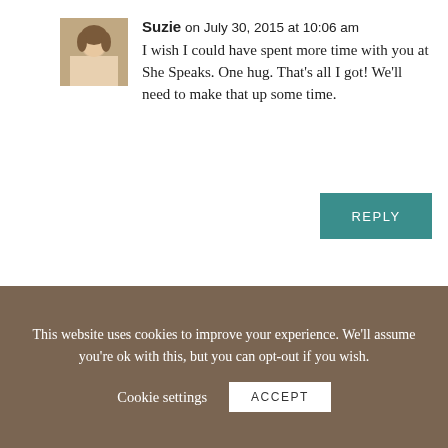[Figure (photo): Avatar photo of Suzie, a woman at a table]
Suzie on July 30, 2015 at 10:06 am
I wish I could have spent more time with you at She Speaks. One hug. That’s all I got! We’ll need to make that up some time.
REPLY
[Figure (photo): Avatar photo of Crystal Hornback with two children]
Crystal Hornback on July 30, 2015 at 9:20 am
“Dirty, dusty feet. That’s all the faith we need.” POWERFUL, Suzie! I needed this
This website uses cookies to improve your experience. We’ll assume you’re ok with this, but you can opt-out if you wish.
Cookie settings
ACCEPT